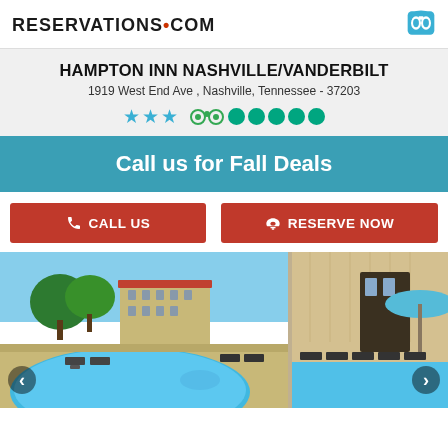RESERVATIONS•COM
HAMPTON INN NASHVILLE/VANDERBILT
1919 West End Ave , Nashville, Tennessee - 37203
3 stars, TripAdvisor rating circles
Call us for Fall Deals
CALL US | RESERVE NOW
[Figure (photo): Outdoor swimming pool area of Hampton Inn Nashville/Vanderbilt with lounge chairs, trees, and hotel building in background]